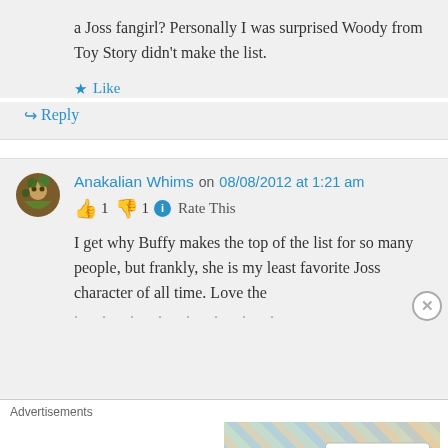a Joss fangirl? Personally I was surprised Woody from Toy Story didn't make the list.
★ Like
↳ Reply
Anakalian Whims on 08/08/2012 at 1:21 am
👍 1 👎 1 ℹ Rate This
I get why Buffy makes the top of the list for so many people, but frankly, she is my least favorite Joss character of all time. Love the
Advertisements